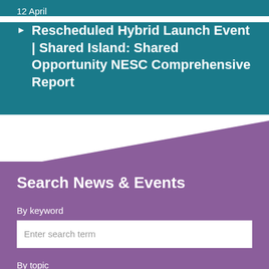12 April
Rescheduled Hybrid Launch Event | Shared Island: Shared Opportunity NESC Comprehensive Report
Search News & Events
By keyword
Enter search term
By topic
All topics